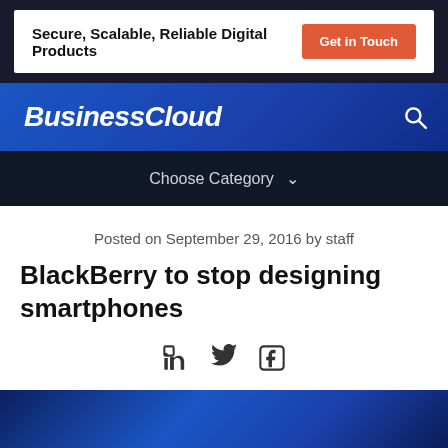Secure, Scalable, Reliable Digital Products | Get in Touch
BusinessCloud
Choose Category
Posted on September 29, 2016 by staff
BlackBerry to stop designing smartphones
[Figure (other): Social sharing icons: LinkedIn, Twitter, Facebook]
[Figure (photo): Dark blue technology background image at bottom of page]